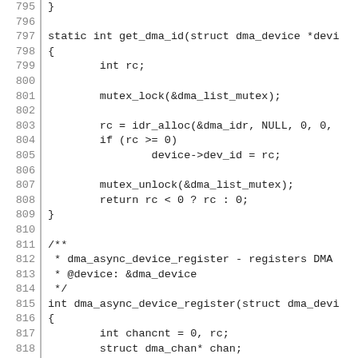Source code listing, lines 795–824, C kernel DMA driver code